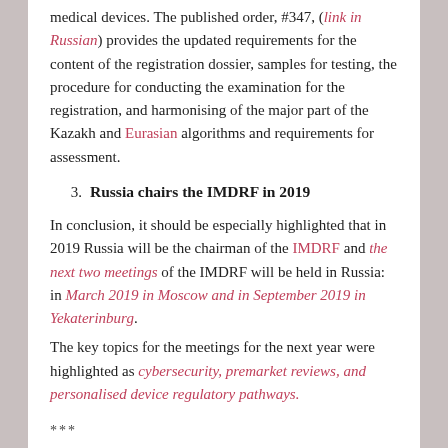medical devices. The published order, #347, (link in Russian) provides the updated requirements for the content of the registration dossier, samples for testing, the procedure for conducting the examination for the registration, and harmonising of the major part of the Kazakh and Eurasian algorithms and requirements for assessment.
3. Russia chairs the IMDRF in 2019
In conclusion, it should be especially highlighted that in 2019 Russia will be the chairman of the IMDRF and the next two meetings of the IMDRF will be held in Russia: in March 2019 in Moscow and in September 2019 in Yekaterinburg.
The key topics for the meetings for the next year were highlighted as cybersecurity, premarket reviews, and personalised device regulatory pathways.
***
This was the Russian medical device regulatory landscape in 2018.